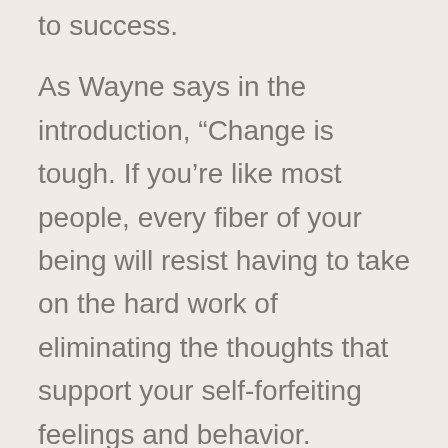to success.
As Wayne says in the introduction, “Change is tough. If you’re like most people, every fiber of your being will resist having to take on the hard work of eliminating the thoughts that support your self-forfeiting feelings and behavior.
However, Wayne’s book provides a clear overview of the work that needs to be done and may open your eyes to some “common hours thinking” that